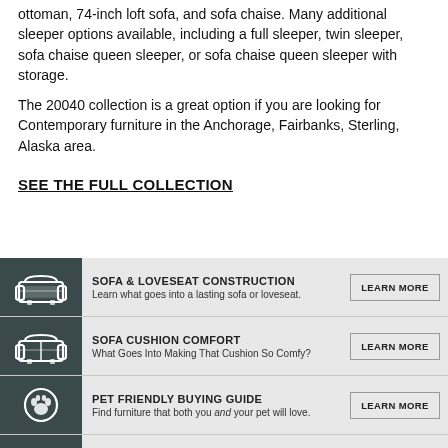ottoman, 74-inch loft sofa, and sofa chaise. Many additional sleeper options available, including a full sleeper, twin sleeper, sofa chaise queen sleeper, or sofa chaise queen sleeper with storage.
The 20040 collection is a great option if you are looking for Contemporary furniture in the Anchorage, Fairbanks, Sterling, Alaska area.
SEE THE FULL COLLECTION
[Figure (infographic): Four-row info panel with dark sidebar icons and light gray background. Row 1: Sofa icon, 'SOFA & LOVESEAT CONSTRUCTION', 'Learn what goes into a lasting sofa or loveseat.', LEARN MORE button. Row 2: Loveseat icon, 'SOFA CUSHION COMFORT', 'What Goes Into Making That Cushion So Comfy?', LEARN MORE button. Row 3: Paw print icon, 'PET FRIENDLY BUYING GUIDE', 'Find furniture that both you and your pet will love.', LEARN MORE button. Row 4: Ruler/small spaces icon, 'SMALL SPACES', 'Tips for Transforming Your Small Space', LEARN MORE button.]